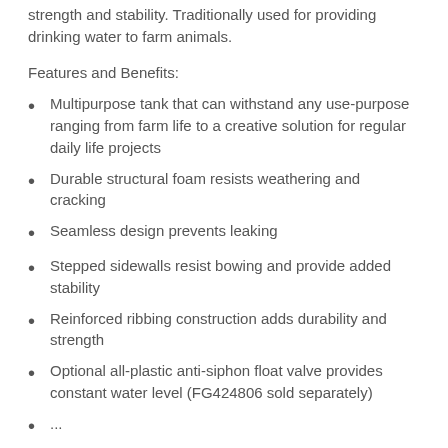strength and stability. Traditionally used for providing drinking water to farm animals.
Features and Benefits:
Multipurpose tank that can withstand any use-purpose ranging from farm life to a creative solution for regular daily life projects
Durable structural foam resists weathering and cracking
Seamless design prevents leaking
Stepped sidewalls resist bowing and provide added stability
Reinforced ribbing construction adds durability and strength
Optional all-plastic anti-siphon float valve provides constant water level (FG424806 sold separately)
...partial text continues...